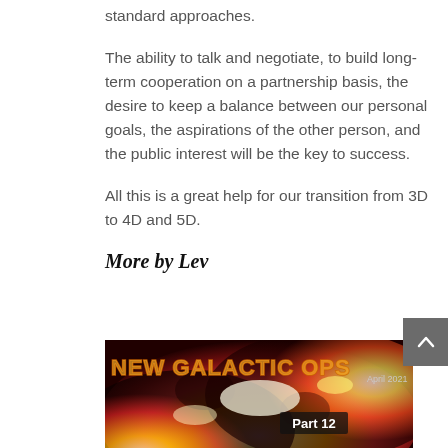standard approaches.
The ability to talk and negotiate, to build long-term cooperation on a partnership basis, the desire to keep a balance between our personal goals, the aspirations of the other person, and the public interest will be the key to success.
All this is a great help for our transition from 3D to 4D and 5D.
More by Lev
[Figure (photo): Image with fiery/solar background showing 'NEW GALACTIC OPS Part 12 April 2021' text overlay]